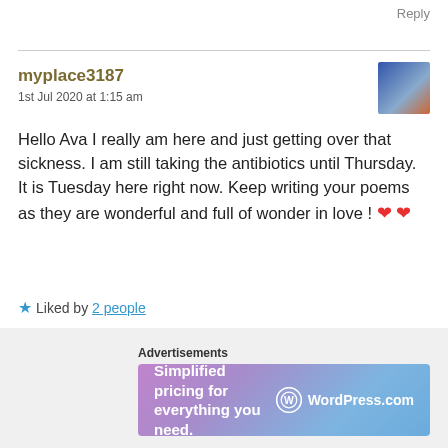Reply
myplace3187
1st Jul 2020 at 1:15 am
Hello Ava I really am here and just getting over that sickness. I am still taking the antibiotics until Thursday. It is Tuesday here right now. Keep writing your poems as they are wonderful and full of wonder in love ! ❤ ❤
★ Liked by 2 people
Reply
Advertisements
Simplified pricing for everything you need. WordPress.com